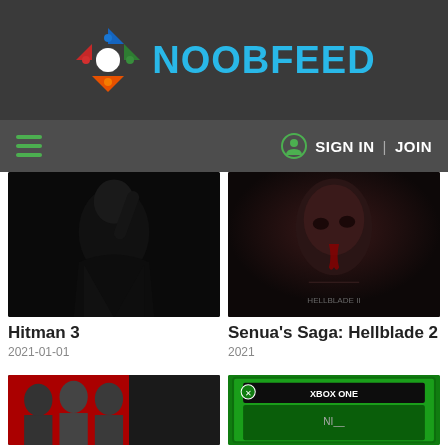NOOBFEED
SIGN IN | JOIN
[Figure (photo): Hitman 3 dark promotional art showing a shadowy figure]
Hitman 3
2021-01-01
[Figure (photo): Senua's Saga: Hellblade 2 promotional art showing a bloodied face]
Senua's Saga: Hellblade 2
2021
[Figure (photo): Shang-Chi promotional art with multiple characters on red background]
[Figure (photo): Xbox One game box art on green background]